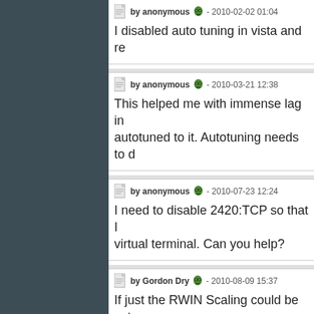by anonymous - 2010-02-02 01:04
I disabled auto tuning in vista and re
by anonymous - 2010-03-21 12:38
This helped me with immense lag in autotuned to it. Autotuning needs to d
by anonymous - 2010-07-23 12:24
I need to disable 2420:TCP so that I virtual terminal. Can you help?
by Gordon Dry - 2010-08-09 15:37
If just the RWIN Scaling could be set
I managed it to get RWIN 64768 at M
by umgowa - 2010-09-15 23:42
Is there a way to permanantly disable prompt and verified it was disabled, I